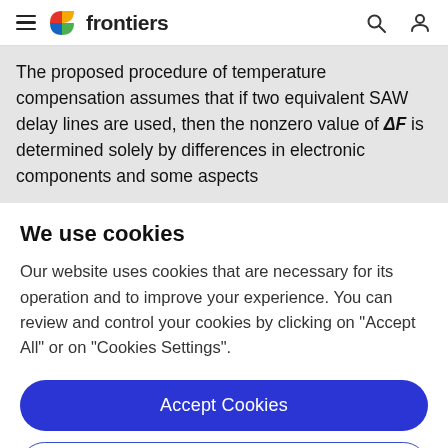frontiers
The proposed procedure of temperature compensation assumes that if two equivalent SAW delay lines are used, then the nonzero value of ΔF is determined solely by differences in electronic components and some aspects
We use cookies
Our website uses cookies that are necessary for its operation and to improve your experience. You can review and control your cookies by clicking on "Accept All" or on "Cookies Settings".
Accept Cookies
Cookies Settings